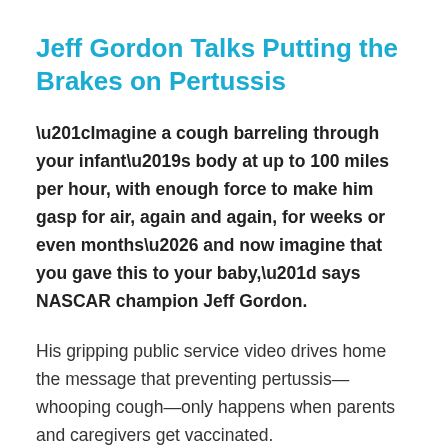Jeff Gordon Talks Putting the Brakes on Pertussis
“Imagine a cough barreling through your infant’s body at up to 100 miles per hour, with enough force to make him gasp for air, again and again, for weeks or even months… and now imagine that you gave this to your baby,” says NASCAR champion Jeff Gordon.
His gripping public service video drives home the message that preventing pertussis—whooping cough—only happens when parents and caregivers get vaccinated.